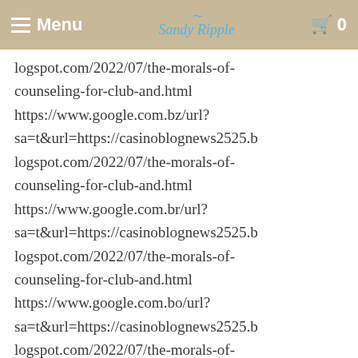Menu | Sandy Ripple | 0
logspot.com/2022/07/the-morals-of-counseling-for-club-and.html https://www.google.com.bz/url?sa=t&url=https://casinoblognews2525.blogspot.com/2022/07/the-morals-of-counseling-for-club-and.html https://www.google.com.br/url?sa=t&url=https://casinoblognews2525.blogspot.com/2022/07/the-morals-of-counseling-for-club-and.html https://www.google.com.bo/url?sa=t&url=https://casinoblognews2525.blogspot.com/2022/07/the-morals-of-counseling-for-club-and.html https://www.google.com.bn/url?sa=t&url=https://casinoblognews2525.b